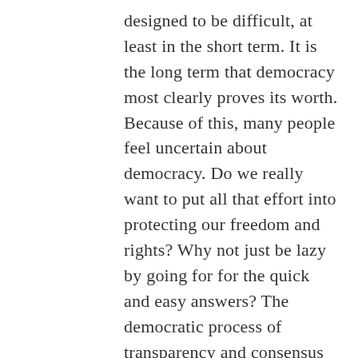designed to be difficult, at least in the short term. It is the long term that democracy most clearly proves its worth. Because of this, many people feel uncertain about democracy. Do we really want to put all that effort into protecting our freedom and rights? Why not just be lazy by going for for the quick and easy answers? The democratic process of transparency and consensus is messy, tiresome and often irritating.
It's something Americans have struggled with from the beginning.